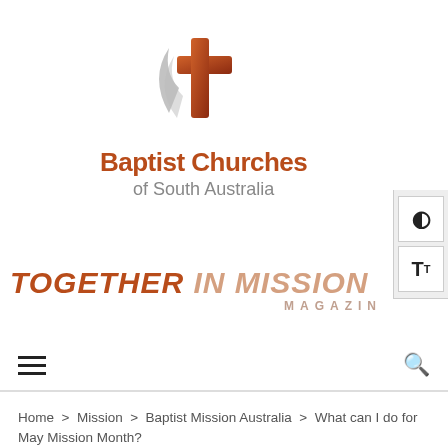[Figure (logo): Baptist Churches of South Australia logo with cross and swoosh graphic, orange/brown color scheme]
Baptist Churches of South Australia
[Figure (logo): Together In Mission Magazine masthead title in italic burnt orange and light peach text]
[Figure (other): Accessibility panel with contrast toggle and text size buttons on the right side]
Home > Mission > Baptist Mission Australia > What can I do for May Mission Month?